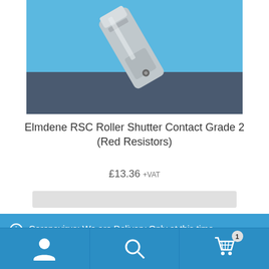[Figure (photo): Product photo of Elmdene RSC Roller Shutter Contact — a silver metal device shown on a light blue and dark blue background]
Elmdene RSC Roller Shutter Contact Grade 2 (Red Resistors)
£13.36 +VAT
Coronavirus: We are Delivery Only at this time.
Dismiss